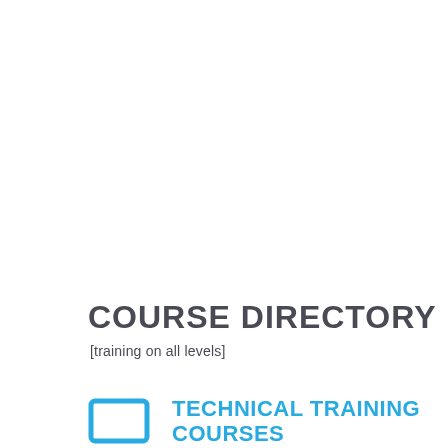COURSE DIRECTORY
[training on all levels]
[Figure (illustration): Cyan/blue outlined rectangle icon representing a screen or monitor]
TECHNICAL TRAINING COURSES